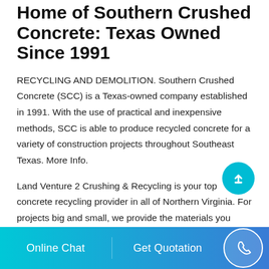Home of Southern Crushed Concrete: Texas Owned Since 1991
RECYCLING AND DEMOLITION. Southern Crushed Concrete (SCC) is a Texas-owned company established in 1991. With the use of practical and inexpensive methods, SCC is able to produce recycled concrete for a variety of construction projects throughout Southeast Texas. More Info.
Land Venture 2 Crushing & Recycling is your top concrete recycling provider in all of Northern Virginia. For projects big and small, we provide the materials you need to get the job done right. Our concrete recycling plant receives clean, broken concrete and recycles it into reusable material.
[Figure (other): Cyan circular floating action button with a white upward arrow icon, positioned at right side overlapping the second paragraph]
Online Chat   Get Quotation   [phone icon]